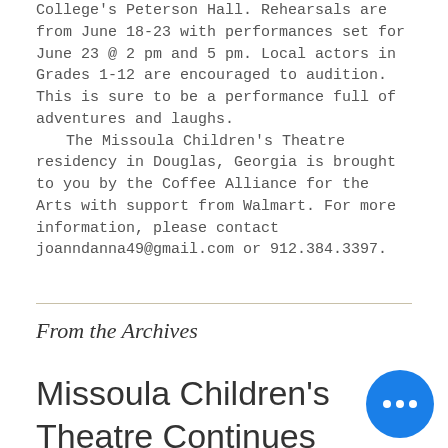College's Peterson Hall. Rehearsals are from June 18-23 with performances set for June 23 @ 2 pm and 5 pm. Local actors in Grades 1-12 are encouraged to audition. This is sure to be a performance full of adventures and laughs.
	The Missoula Children's Theatre residency in Douglas, Georgia is brought to you by the Coffee Alliance for the Arts with support from Walmart. For more information, please contact joanndanna49@gmail.com or 912.384.3397.
From the Archives
Missoula Children's Theatre Continues